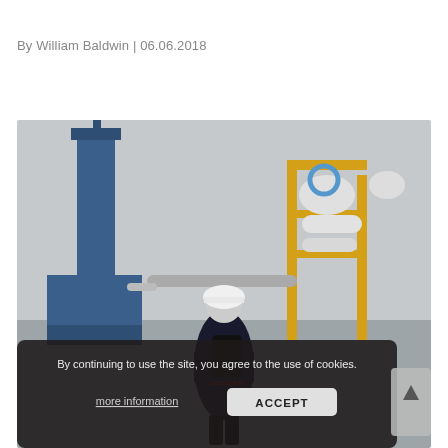By William Baldwin | 06.06.2018
[Figure (photo): Worker in white hard hat and dark jacket with Bashneft logo walking toward industrial oil/gas facility with yellow-painted pipe structures and a blue chimney stack in the background.]
By continuing to use the site, you agree to the use of cookies.
more information
ACCEPT